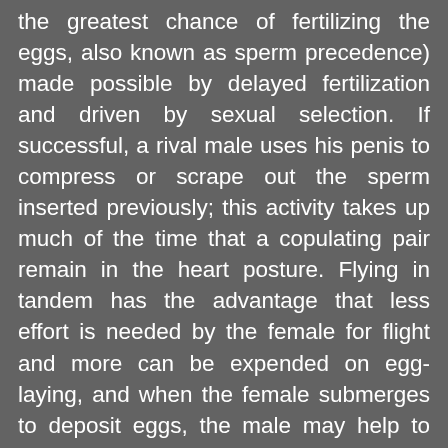the greatest chance of fertilizing the eggs, also known as sperm precedence) made possible by delayed fertilization and driven by sexual selection. If successful, a rival male uses his penis to compress or scrape out the sperm inserted previously; this activity takes up much of the time that a copulating pair remain in the heart posture. Flying in tandem has the advantage that less effort is needed by the female for flight and more can be expended on egg-laying, and when the female submerges to deposit eggs, the male may help to pull her out of the water.

All damselflies are known to lay their eggs inside plant tissues; those that lay eggs underwater may submerge themselves for 30 minutes at a time, climbing along the stems of aquatic plants and laying eggs at intervals. For example, the red-eyed damselfly Erythromma najas lays eggs, in tandem, into leaves or stems of floating or sometimes emergent